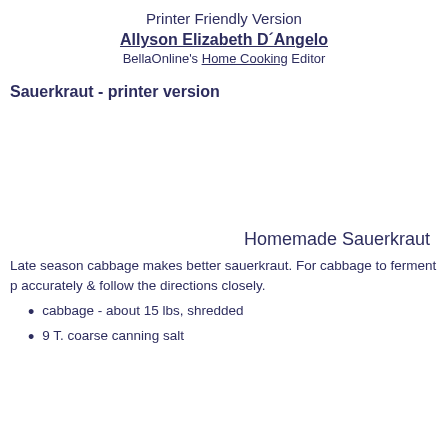Printer Friendly Version
Allyson Elizabeth D´Angelo
BellaOnline's Home Cooking Editor
Sauerkraut - printer version
Homemade Sauerkraut
Late season cabbage makes better sauerkraut. For cabbage to ferment p accurately & follow the directions closely.
cabbage - about 15 lbs, shredded
9 T. coarse canning salt